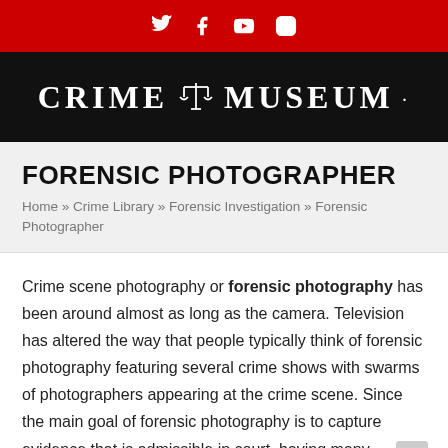Social media icons: Twitter, Facebook, YouTube, Instagram
[Figure (logo): Crime Museum logo with scales of justice icon on black background]
FORENSIC PHOTOGRAPHER
Home » Crime Library » Forensic Investigation » Forensic Photographer
Crime scene photography or forensic photography has been around almost as long as the camera. Television has altered the way that people typically think of forensic photography featuring several crime shows with swarms of photographers appearing at the crime scene. Since the main goal of forensic photography is to capture evidence that is admissible in court, having many